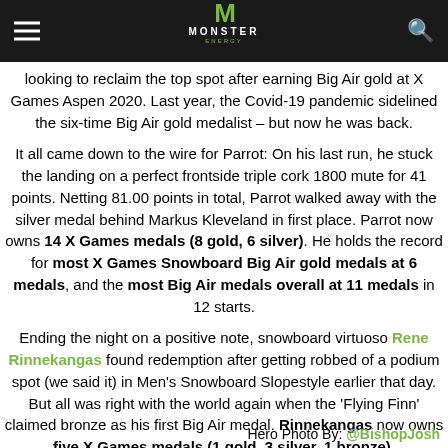Monster Energy
looking to reclaim the top spot after earning Big Air gold at X Games Aspen 2020. Last year, the Covid-19 pandemic sidelined the six-time Big Air gold medalist – but now he was back.
It all came down to the wire for Parrot: On his last run, he stuck the landing on a perfect frontside triple cork 1800 mute for 41 points. Netting 81.00 points in total, Parrot walked away with the silver medal behind Markus Kleveland in first place. Parrot now owns 14 X Games medals (8 gold, 6 silver). He holds the record for most X Games Snowboard Big Air gold medals at 6 medals, and the most Big Air medals overall at 11 medals in 12 starts.
Ending the night on a positive note, snowboard virtuoso Rene Rinnekangas found redemption after getting robbed of a podium spot (we said it) in Men's Snowboard Slopestyle earlier that day. But all was right with the world again when the 'Flying Finn' claimed bronze as his first Big Air medal. Rinnekangas now owns five X Games medals (1 gold, 3 silver, 1 bronze).
Hero Photo By: @BishopJosh